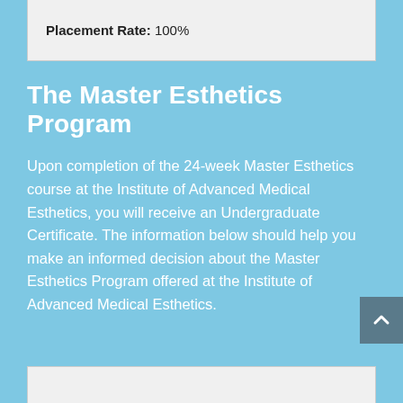| Placement Rate |
| --- |
| 100% |
The Master Esthetics Program
Upon completion of the 24-week Master Esthetics course at the Institute of Advanced Medical Esthetics, you will receive an Undergraduate Certificate. The information below should help you make an informed decision about the Master Esthetics Program offered at the Institute of Advanced Medical Esthetics.